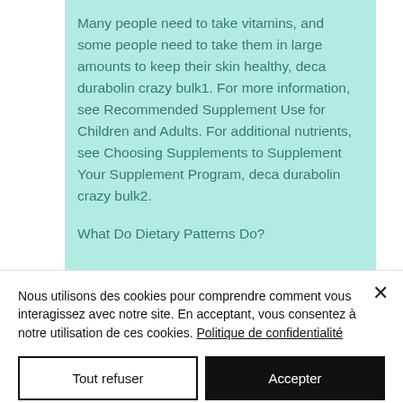Many people need to take vitamins, and some people need to take them in large amounts to keep their skin healthy, deca durabolin crazy bulk1. For more information, see Recommended Supplement Use for Children and Adults. For additional nutrients, see Choosing Supplements to Supplement Your Supplement Program, deca durabolin crazy bulk2.
What Do Dietary Patterns Do?
Nous utilisons des cookies pour comprendre comment vous interagissez avec notre site. En acceptant, vous consentez à notre utilisation de ces cookies. Politique de confidentialité
Tout refuser
Accepter
Paramètres